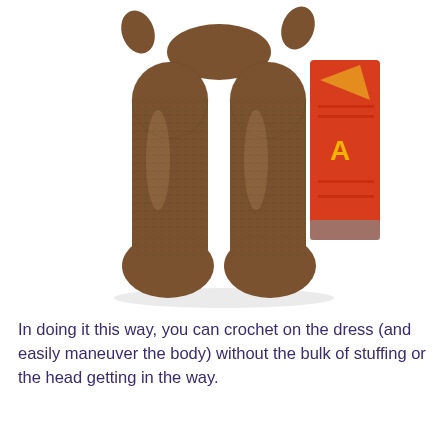[Figure (photo): A knitted/crocheted brown doll viewed from below, showing its two legs and feet with round stuffed toes. A red tag is visible on the right side of the doll. The background is white.]
In doing it this way, you can crochet on the dress (and easily maneuver the body) without the bulk of stuffing or the head getting in the way.